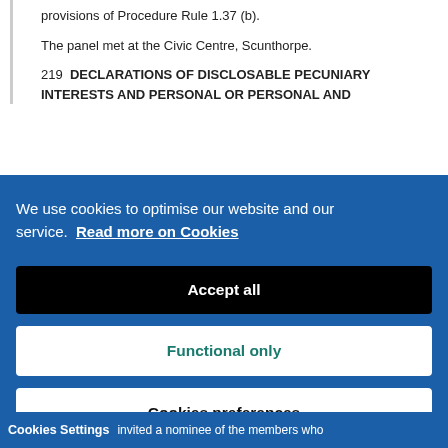provisions of Procedure Rule 1.37 (b).
The panel met at the Civic Centre, Scunthorpe.
219  DECLARATIONS OF DISCLOSABLE PECUNIARY INTERESTS AND PERSONAL OR PERSONAL AND
[Figure (screenshot): Cookie consent banner overlay on a government website. Blue background with white text reading 'We use cookies to optimise our website and our service. Read more on Cookies'. Three buttons: 'Accept all' (black), 'Functional only' (white with teal text), 'Cookies preferences' (white). Bottom bar shows 'Cookies Settings' label and partial document text 'invited a nominee of the members who'.]